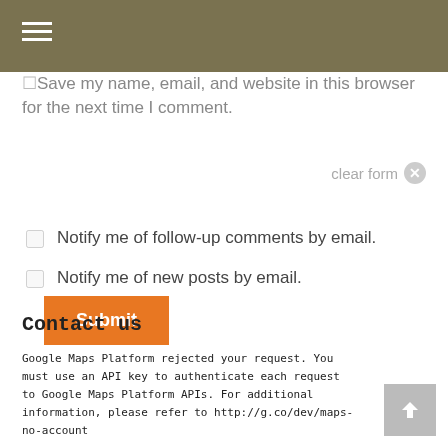≡
Save my name, email, and website in this browser for the next time I comment.
Submit
clear form ⊗
Notify me of follow-up comments by email.
Notify me of new posts by email.
Contact us
Google Maps Platform rejected your request. You must use an API key to authenticate each request to Google Maps Platform APIs. For additional information, please refer to http://g.co/dev/maps-no-account